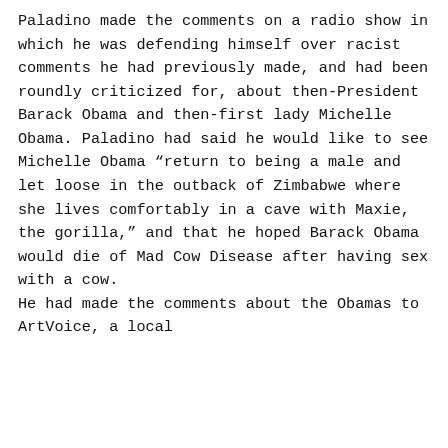Paladino made the comments on a radio show in which he was defending himself over racist comments he had previously made, and had been roundly criticized for, about then-President Barack Obama and then-first lady Michelle Obama. Paladino had said he would like to see Michelle Obama “return to being a male and let loose in the outback of Zimbabwe where she lives comfortably in a cave with Maxie, the gorilla,” and that he hoped Barack Obama would die of Mad Cow Disease after having sex with a cow.
He had made the comments about the Obamas to ArtVoice, a local...